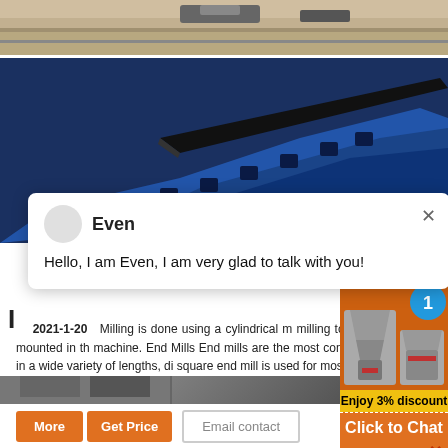[Figure (photo): Top strip showing a construction site or road scene from aerial/side view]
[Figure (photo): Blue industrial milling/crushing machine parts on dark background]
Even
Hello, I am Even, I am very glad to talk with you!
I
2021-1-20   Milling is done using a cylindrical m... milling tool holder that is then mounted in the machine. End Mills End mills are the most comme... mills are available in a wide variety of lengths, di... square end mill is used for most general milling ap...
[Figure (photo): Bottom left construction/equipment image]
[Figure (photo): Bottom right construction/equipment image]
[Figure (infographic): Orange sidebar panel with machine images, '1' badge, 'Enjoy 3% discount', 'Click to Chat', and 'Enquiry' buttons]